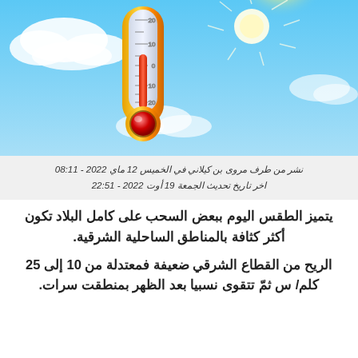[Figure (photo): A thermometer illustration against a blue sky with clouds and bright sunlight in the background. The thermometer has a red mercury level and a red bulb at the bottom, framed in yellow and orange.]
نشر من طرف مروى بن كيلاني في الخميس 12 ماي 2022 - 08:11
اخر تاريخ تحديث الجمعة 19 أوت 2022 - 22:51
يتميز الطقس اليوم ببعض السحب على كامل البلاد تكون أكثر كثافة بالمناطق الساحلية الشرقية.
الريح من القطاع الشرقي ضعيفة فمعتدلة من 10 إلى 25 كلم/ س ثمّ تتقوى نسبيا بعد الظهر بمنطقت سرات.